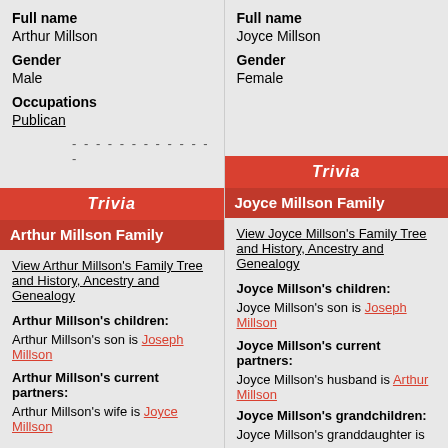Full name
Arthur Millson
Gender
Male
Occupations
Publican
Trivia
Arthur Millson Family
View Arthur Millson's Family Tree and History, Ancestry and Genealogy
Arthur Millson's children:
Arthur Millson's son is Joseph Millson
Arthur Millson's current partners:
Arthur Millson's wife is Joyce Millson
Full name
Joyce Millson
Gender
Female
Trivia
Joyce Millson Family
View Joyce Millson's Family Tree and History, Ancestry and Genealogy
Joyce Millson's children:
Joyce Millson's son is Joseph Millson
Joyce Millson's current partners:
Joyce Millson's husband is Arthur Millson
Joyce Millson's grandchildren:
Joyce Millson's granddaughter is